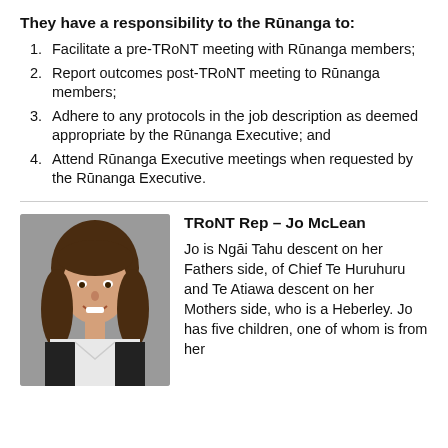They have a responsibility to the Rūnanga to:
Facilitate a pre-TRoNT meeting with Rūnanga members;
Report outcomes post-TRoNT meeting to Rūnanga members;
Adhere to any protocols in the job description as deemed appropriate by the Rūnanga Executive; and
Attend Rūnanga Executive meetings when requested by the Rūnanga Executive.
TRoNT Rep – Jo McLean
[Figure (photo): Headshot photo of Jo McLean, a woman with long brown hair, smiling, wearing a white shirt and dark jacket.]
Jo is Ngāi Tahu descent on her Fathers side, of Chief Te Huruhuru and Te Atiawa descent on her Mothers side, who is a Heberley. Jo has five children, one of whom is from her